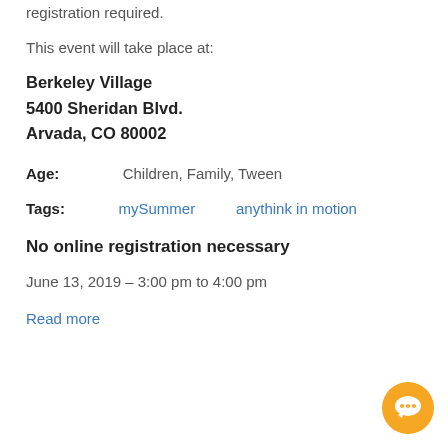registration required.
This event will take place at:
Berkeley Village
5400 Sheridan Blvd.
Arvada, CO 80002
Age:    Children, Family, Tween
Tags:    mySummer    anythink in motion
No online registration necessary
June 13, 2019 – 3:00 pm to 4:00 pm
Read more